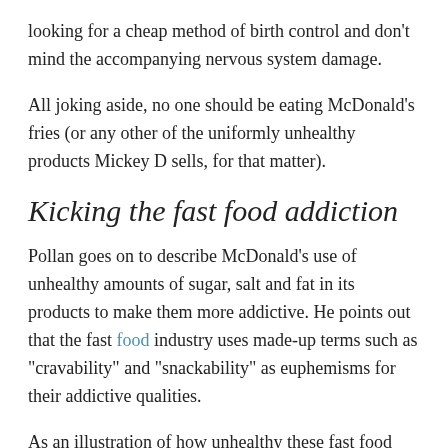looking for a cheap method of birth control and don't mind the accompanying nervous system damage.
All joking aside, no one should be eating McDonald's fries (or any other of the uniformly unhealthy products Mickey D sells, for that matter).
Kicking the fast food addiction
Pollan goes on to describe McDonald's use of unhealthy amounts of sugar, salt and fat in its products to make them more addictive. He points out that the fast food industry uses made-up terms such as "cravability" and "snackability" as euphemisms for their addictive qualities.
As an illustration of how unhealthy these fast food products are, Pollan notes that, "even poor women who cook have healthier diets than wealthy women who don't."
In other words, virtually anything cooked at home is healthier than